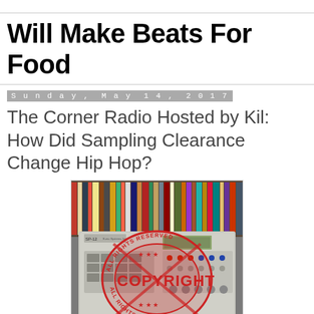Will Make Beats For Food
Sunday, May 14, 2017
The Corner Radio Hosted by Kil: How Did Sampling Clearance Change Hip Hop?
[Figure (photo): Photo of an SP-12 drum machine/sampler by E-mu Systems, Inc., overlaid with a red COPYRIGHT ALL RIGHTS RESERVED circular stamp. Record albums are visible in the background. A 'THE CORNER' logo appears at the bottom left.]